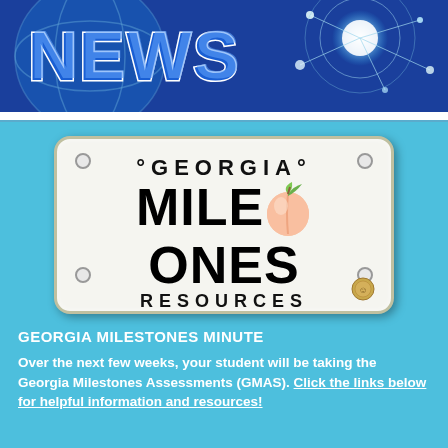[Figure (illustration): Blue banner header with glowing globe/network graphic and the word NEWS in large stylized 3D blue letters with white outline]
[Figure (illustration): Georgia Milestones Resources license plate with peach graphic in the center of the word MILESTONES, GEORGIA text at top, RESOURCES at bottom, bolt holes in corners, and a gold seal in the lower right]
GEORGIA MILESTONES MINUTE
Over the next few weeks, your student will be taking the Georgia Milestones Assessments (GMAS). Click the links below for helpful information and resources!